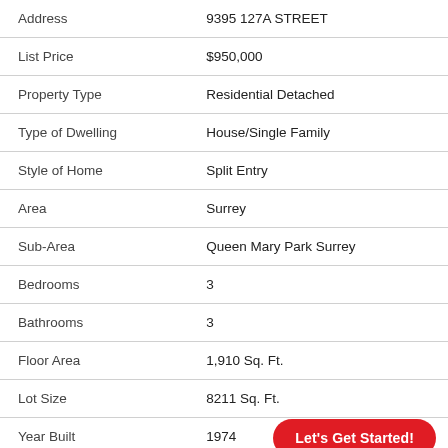| Field | Value |
| --- | --- |
| Address | 9395 127A STREET |
| List Price | $950,000 |
| Property Type | Residential Detached |
| Type of Dwelling | House/Single Family |
| Style of Home | Split Entry |
| Area | Surrey |
| Sub-Area | Queen Mary Park Surrey |
| Bedrooms | 3 |
| Bathrooms | 3 |
| Floor Area | 1,910 Sq. Ft. |
| Lot Size | 8211 Sq. Ft. |
| Year Built | 1974 |
Let's Get Started!
MLS® Number R2425444